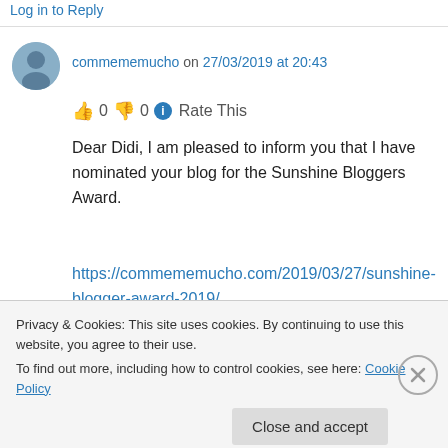Log in to Reply
commememucho on 27/03/2019 at 20:43
👍 0 👎 0 ℹ Rate This
Dear Didi, I am pleased to inform you that I have nominated your blog for the Sunshine Bloggers Award.
https://commememucho.com/2019/03/27/sunshine-blogger-award-2019/
All my best dear friend,
Privacy & Cookies: This site uses cookies. By continuing to use this website, you agree to their use.
To find out more, including how to control cookies, see here: Cookie Policy